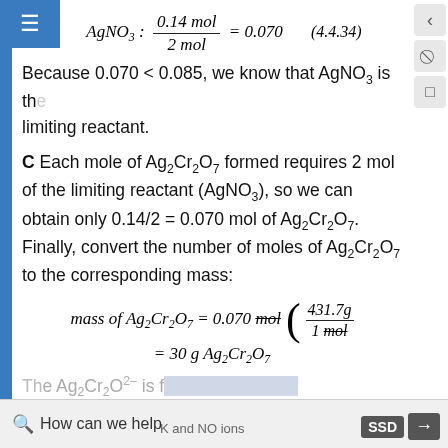Because 0.070 < 0.085, we know that AgNO3 is the limiting reactant.
C Each mole of Ag2Cr2O7 formed requires 2 mol of the limiting reactant (AgNO3), so we can obtain only 0.14/2 = 0.070 mol of Ag2Cr2O7. Finally, convert the number of moles of Ag2Cr2O7 to the corresponding mass:
How can we help  |  K and NO ions  |  SSD